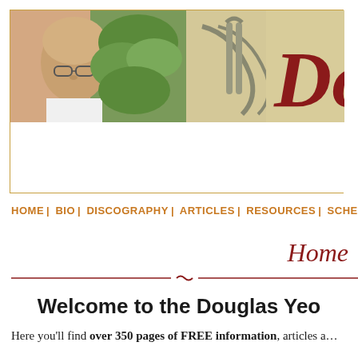[Figure (photo): Website banner showing a bald man with glasses outdoors among greenery, with a trombone instrument visible, and large red letter 'Do' on a tan/cream background]
HOME | BIO | DISCOGRAPHY | ARTICLES | RESOURCES | SCHE...
Home
Welcome to the Douglas Yeo...
Here you'll find over 350 pages of FREE information, articles a...